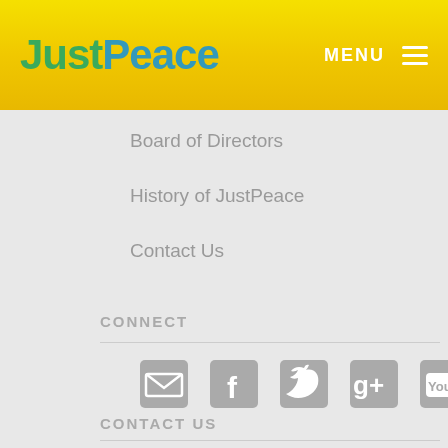JustPeace — MENU
Board of Directors
History of JustPeace
Contact Us
CONNECT
[Figure (infographic): Social media icons: email envelope, Facebook, Twitter, Google+, YouTube]
CONTACT US